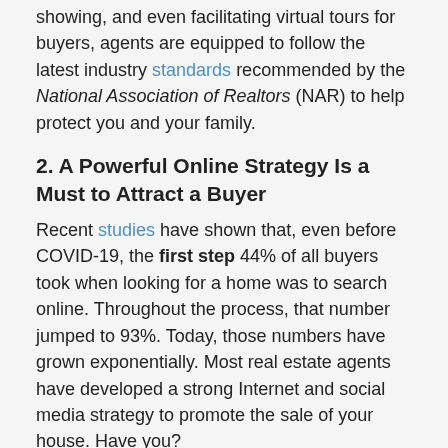showing, and even facilitating virtual tours for buyers, agents are equipped to follow the latest industry standards recommended by the National Association of Realtors (NAR) to help protect you and your family.
2. A Powerful Online Strategy Is a Must to Attract a Buyer
Recent studies have shown that, even before COVID-19, the first step 44% of all buyers took when looking for a home was to search online. Throughout the process, that number jumped to 93%. Today, those numbers have grown exponentially. Most real estate agents have developed a strong Internet and social media strategy to promote the sale of your house. Have you?
3. There Are Too Many Negotiations
Here are just a few of the people you’ll need to negotiate with if you decide to FSBO: